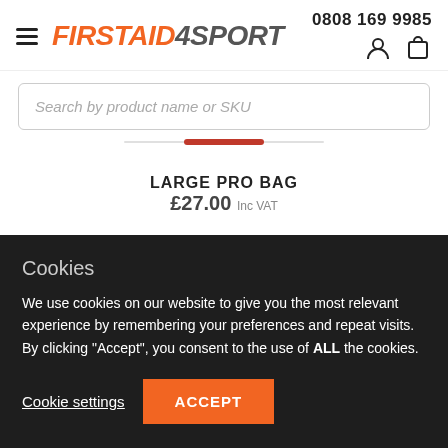[Figure (logo): FirstAid4Sport logo with hamburger menu icon on left and phone number on right with user/cart icons]
[Figure (screenshot): Search bar with placeholder text: Search by product name or SKU]
LARGE PRO BAG
£27.00 Inc VAT
Cookies
We use cookies on our website to give you the most relevant experience by remembering your preferences and repeat visits. By clicking "Accept", you consent to the use of ALL the cookies.
Cookie settings
ACCEPT